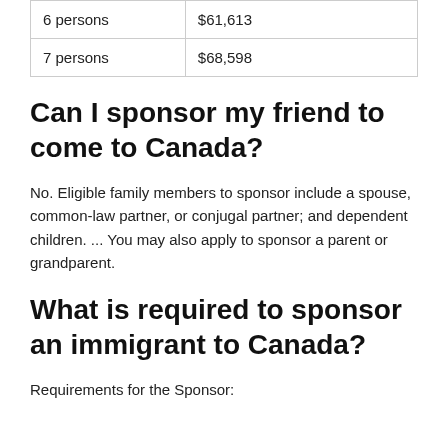| 6 persons | $61,613 |
| 7 persons | $68,598 |
Can I sponsor my friend to come to Canada?
No. Eligible family members to sponsor include a spouse, common-law partner, or conjugal partner; and dependent children. ... You may also apply to sponsor a parent or grandparent.
What is required to sponsor an immigrant to Canada?
Requirements for the Sponsor: